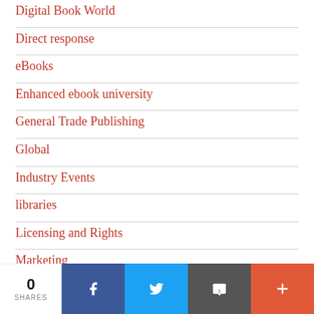Digital Book World
Direct response
eBooks
Enhanced ebook university
General Trade Publishing
Global
Industry Events
libraries
Licensing and Rights
Marketing